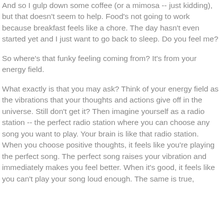And so I gulp down some coffee (or a mimosa -- just kidding), but that doesn't seem to help. Food's not going to work because breakfast feels like a chore. The day hasn't even started yet and I just want to go back to sleep. Do you feel me?
So where's that funky feeling coming from? It's from your energy field.
What exactly is that you may ask? Think of your energy field as the vibrations that your thoughts and actions give off in the universe. Still don't get it? Then imagine yourself as a radio station -- the perfect radio station where you can choose any song you want to play. Your brain is like that radio station. When you choose positive thoughts, it feels like you're playing the perfect song. The perfect song raises your vibration and immediately makes you feel better. When it's good, it feels like you can't play your song loud enough. The same is true,